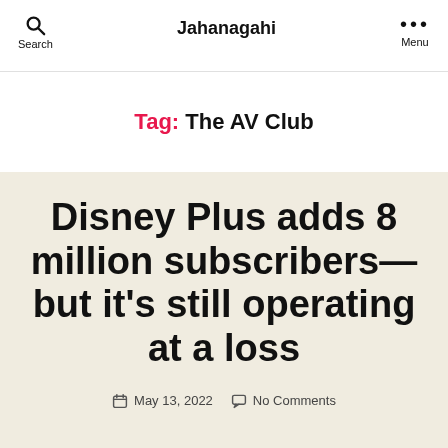Search | Jahanagahi | Menu
Tag: The AV Club
Disney Plus adds 8 million subscribers—but it's still operating at a loss
May 13, 2022   No Comments